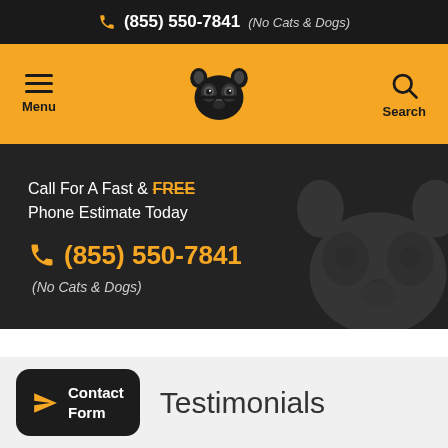(855) 550-7841 (No Cats & Dogs)
[Figure (screenshot): Navigation bar with hamburger menu, raccoon logo, and search icon on yellow background]
Call For A Fast & FREE Phone Estimate Today
(855) 550-7841 (No Cats & Dogs)
Testimonials
Contact Form